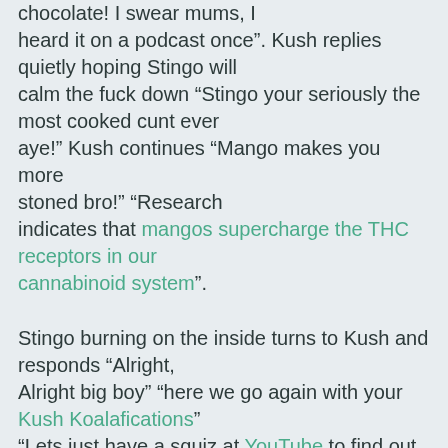chocolate! I swear mums, I heard it on a podcast once”. Kush replies quietly hoping Stingo will calm the fuck down “Stingo your seriously the most cooked cunt ever aye!” Kush continues “Mango makes you more stoned bro!” “Research indicates that mangos supercharge the THC receptors in our cannabinoid system”.
Stingo burning on the inside turns to Kush and responds “Alright, Alright big boy” “here we go again with your Kush Koalafications” “Lets just have a squiz at YouTube to find out aye” Kush nods in